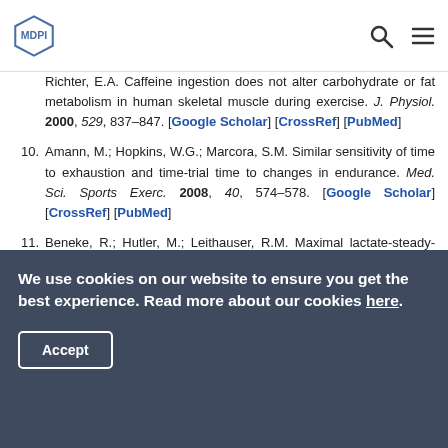MDPI
Richter, E.A. Caffeine ingestion does not alter carbohydrate or fat metabolism in human skeletal muscle during exercise. J. Physiol. 2000, 529, 837–847. [Google Scholar] [CrossRef] [PubMed]
10. Amann, M.; Hopkins, W.G.; Marcora, S.M. Similar sensitivity of time to exhaustion and time-trial time to changes in endurance. Med. Sci. Sports Exerc. 2008, 40, 574–578. [Google Scholar] [CrossRef] [PubMed]
11. Beneke, R.; Hutler, M.; Leithauser, R.M. Maximal lactate-steady-state independent of performance. Med. Sci. Sports Exerc. 2000, 32, 1135–1139. [Google Scholar] [CrossRef] [PubMed]
We use cookies on our website to ensure you get the best experience. Read more about our cookies here.